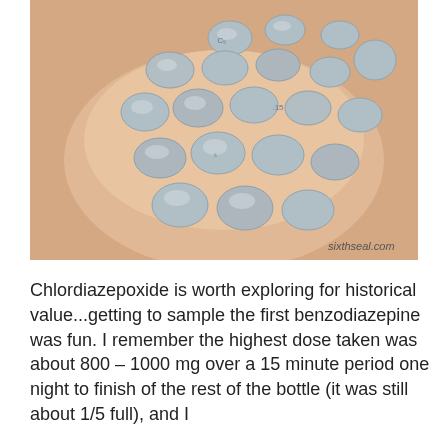[Figure (photo): A hand holding approximately 20 small round pale grey/blue pills with imprints, photographed close up. Watermark 'sixthseal.com' visible in bottom right corner.]
Chlordiazepoxide is worth exploring for historical value...getting to sample the first benzodiazepine was fun. I remember the highest dose taken was about 800 – 1000 mg over a 15 minute period one night to finish of the rest of the bottle (it was still about 1/5 full), and I